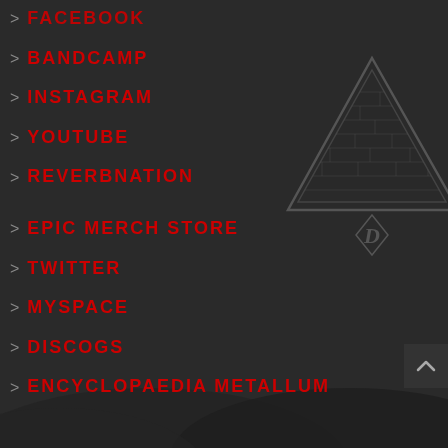[Figure (logo): Inverted triangle/pyramid logo with brick texture pattern and stylized 'D' symbol at bottom center, rendered in dark gray outline style]
> FACEBOOK
> BANDCAMP
> INSTAGRAM
> YOUTUBE
> REVERBNATION
> EPIC MERCH STORE
> TWITTER
> MYSPACE
> DISCOGS
> ENCYCLOPAEDIA METALLUM